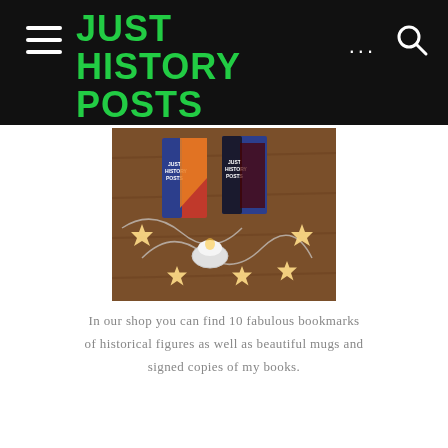JUST HISTORY POSTS
[Figure (photo): Photo of Just History Posts branded bookmarks on a wooden table surrounded by star-shaped fairy lights and a small candle]
In our shop you can find 10 fabulous bookmarks of historical figures as well as beautiful mugs and signed copies of my books.